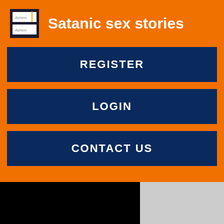Satanic sex stories
REGISTER
LOGIN
CONTACT US
[Figure (photo): Black image placeholder]
Johann St. Taxes, fees not included for deals content. But, if possible, it will be very helpful if you will add a mark on the map for every place or area you are